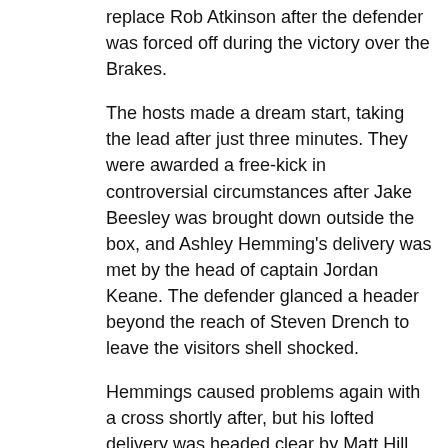replace Rob Atkinson after the defender was forced off during the victory over the Brakes.
The hosts made a dream start, taking the lead after just three minutes. They were awarded a free-kick in controversial circumstances after Jake Beesley was brought down outside the box, and Ashley Hemming's delivery was met by the head of captain Jordan Keane. The defender glanced a header beyond the reach of Steven Drench to leave the visitors shell shocked.
Hemmings caused problems again with a cross shortly after, but his lofted delivery was headed clear by Matt Hill after the winger had escaped the challenge of Frank Mulhern.
Beesley advanced into the box before cutting-back to Brad Abbott but his through ball missed its target and rolled to Drench.
Gianluca Havern and Shane Killock were proving difficult opposition for Boston's pacey frontline and the latter made an excellent sliding challenge to thwart James Clifton, who opened to shoot after cutting-in from the right.